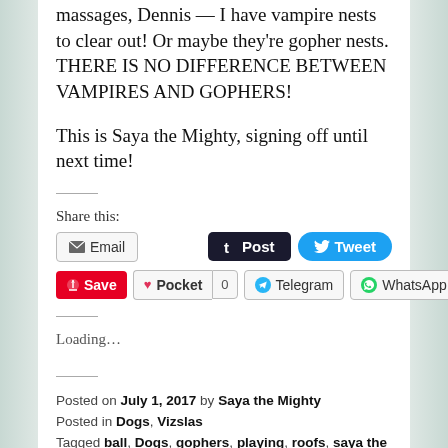massages, Dennis — I have vampire nests to clear out! Or maybe they're gopher nests. THERE IS NO DIFFERENCE BETWEEN VAMPIRES AND GOPHERS!
This is Saya the Mighty, signing off until next time!
Share this:
Email  Post  Tweet  Save  Pocket  0  Telegram  WhatsApp
Loading...
Posted on July 1, 2017 by Saya the Mighty
Posted in Dogs, Vizslas
Tagged ball, Dogs, gophers, playing, roofs, saya the mighty,